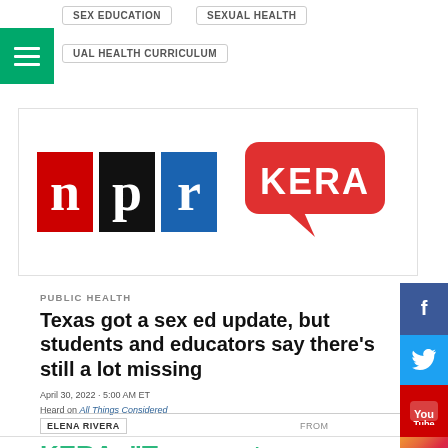SEX EDUCATION
SEXUAL HEALTH
UAL HEALTH CURRICULUM
[Figure (logo): NPR and KERA logos side by side]
PUBLIC HEALTH
Texas got a sex ed update, but students and educators say there’s still a lot missing
April 30, 2022 · 5:00 AM ET
Heard on All Things Considered
ELENA RIVERA
FROM
KERA: “Texas got a sex ed update, but students…”